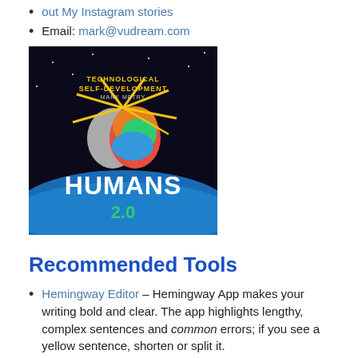out My Instagram stories
Email: mark@vudream.com
[Figure (photo): Book cover for 'Humans 2.0' by Mark Metry — subtitle 'Technological Self-Development', shows a colorful brain exploding in space above Earth's horizon]
Recommended Tools
Hemingway Editor – Hemingway App makes your writing bold and clear. The app highlights lengthy, complex sentences and common errors; if you see a yellow sentence, shorten or split it.
M